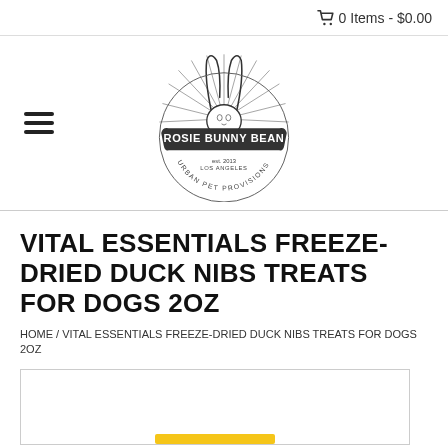0 Items - $0.00
[Figure (logo): Rosie Bunny Bean logo — circular badge with a rabbit illustration, banner reading 'ROSIE BUNNY BEAN', 'est. 2013 LOS ANGELES', 'URBAN PET PROVISIONS']
VITAL ESSENTIALS FREEZE-DRIED DUCK NIBS TREATS FOR DOGS 2OZ
HOME / VITAL ESSENTIALS FREEZE-DRIED DUCK NIBS TREATS FOR DOGS 2OZ
[Figure (photo): Product image area (partially visible, white background with yellow bar at bottom)]